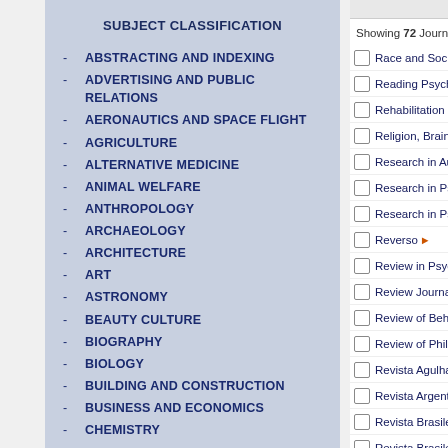SUBJECT CLASSIFICATION
ABSTRACTING AND INDEXING
ADVERTISING AND PUBLIC RELATIONS
AERONAUTICS AND SPACE FLIGHT
AGRICULTURE
ALTERNATIVE MEDICINE
ANIMAL WELFARE
ANTHROPOLOGY
ARCHAEOLOGY
ARCHITECTURE
ART
ASTRONOMY
BEAUTY CULTURE
BIOGRAPHY
BIOLOGY
BUILDING AND CONSTRUCTION
BUSINESS AND ECONOMICS
CHEMISTRY
Showing 72 Journals sta...
Race and Social Pr...
Reading Psycholog...
Rehabilitation Psyc...
Religion, Brain & B...
Research in Autism...
Research in Psych...
Research in Psych...
Reverso
Review in Psycholo...
Review Journal of A...
Review of Behavior...
Review of Philosop...
Revista Agulhas Ne...
Revista Argentina d...
Revista Brasileira d...
Revista Brasileira d...
Revista Brasileira d...
Revista Brasileira d...